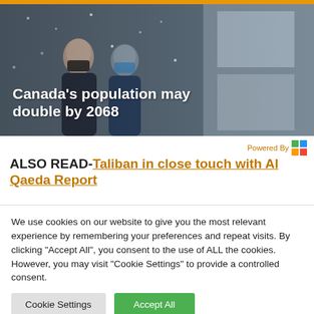[Figure (photo): People wearing blue face masks walking outdoors in snowy weather, in front of a dark building facade. Overlaid white bold text reads: Canada's population may double by 2068]
Powered By [logo]
ALSO READ-Taliban in close touch with Al Qaeda Report...
We use cookies on our website to give you the most relevant experience by remembering your preferences and repeat visits. By clicking "Accept All", you consent to the use of ALL the cookies. However, you may visit "Cookie Settings" to provide a controlled consent.